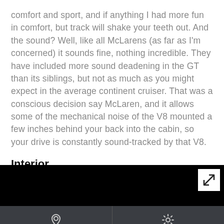comfort and sport, and if anything I had more fun in comfort, but track will shake your teeth out. And the sound? Well, like all McLarens (as far as I'm concerned) it sounds fine, nothing incredible. They have included more sound deadening in the GT than its siblings, but not as much as you might expect in the average continent cruiser. That was a conscious decision say McLaren, and it allows some of the mechanical noise of the V8 mounted a few inches behind your back into the cabin, so your drive is constantly sound-tracked by that V8.
Interior
[Figure (photo): Black image strip with an expand/fullscreen icon button in the top-right corner]